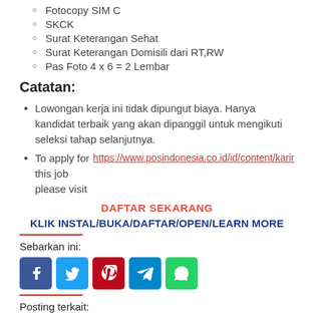Fotocopy SIM C
SKCK
Surat Keterangan Sehat
Surat Keterangan Domisili dari RT,RW
Pas Foto 4 x 6 = 2 Lembar
Catatan:
Lowongan kerja ini tidak dipungut biaya. Hanya kandidat terbaik yang akan dipanggil untuk mengikuti seleksi tahap selanjutnya.
To apply for this job please visit https://www.posindonesia.co.id/id/content/karir
DAFTAR SEKARANG
KLIK INSTAL/BUKA/DAFTAR/OPEN/LEARN MORE
Sebarkan ini:
[Figure (infographic): Social media share buttons: Facebook, Twitter, Pinterest, Telegram, WhatsApp]
Posting terkait: